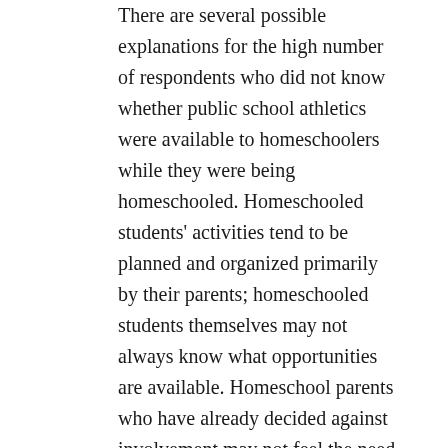There are several possible explanations for the high number of respondents who did not know whether public school athletics were available to homeschoolers while they were being homeschooled. Homeschooled students' activities tend to be planned and organized primarily by their parents; homeschooled students themselves may not always know what opportunities are available. Homeschool parents who have already decided against involvement may not feel the need to let their children know that public school athletics participation is an option; in cases where such participation is not an option, there would likely be no reason to bring it up. It is also possible that this survey, which was advertised through social networks in the homeschool reform movement, may have oversampled from among homeschooled students who were raised in more conservative environments; these